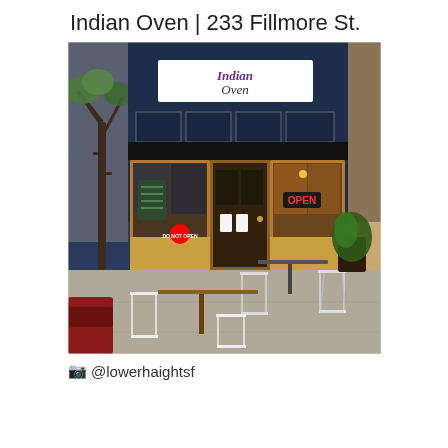Indian Oven | 233 Fillmore St.
[Figure (photo): Exterior photograph of Indian Oven restaurant at 233 Fillmore St. The storefront features a large white sign reading 'Indian Oven' in decorative script on a dark navy/black facade. The restaurant has wooden-framed glass doors and windows with an OPEN neon sign visible. Outdoor patio furniture including white folding chairs and small tables is visible on the sidewalk. A tree is visible on the left side.]
📷 @lowerhaightsf